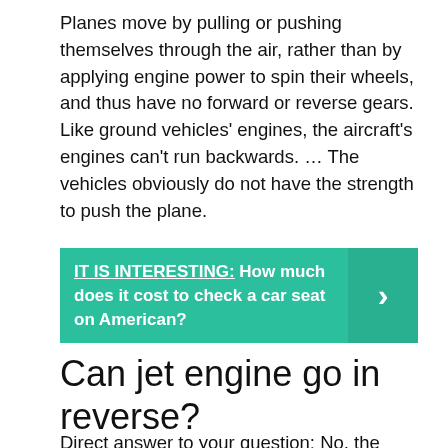Planes move by pulling or pushing themselves through the air, rather than by applying engine power to spin their wheels, and thus have no forward or reverse gears. Like ground vehicles' engines, the aircraft's engines can't run backwards. … The vehicles obviously do not have the strength to push the plane.
[Figure (infographic): Teal banner with link text 'IT IS INTERESTING: How much does it cost to check a car seat on American?' and a right-arrow chevron on the right side.]
Can jet engine go in reverse?
Direct answer to your question: No, the